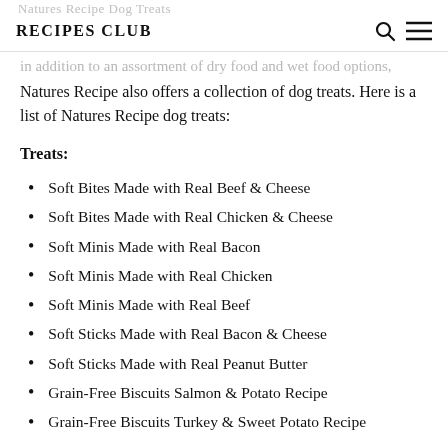RECIPES CLUB
in addition to an assortment of dry food and wet food options, Natures Recipe also offers a collection of dog treats. Here is a list of Natures Recipe dog treats:
Treats:
Soft Bites Made with Real Beef & Cheese
Soft Bites Made with Real Chicken & Cheese
Soft Minis Made with Real Bacon
Soft Minis Made with Real Chicken
Soft Minis Made with Real Beef
Soft Sticks Made with Real Bacon & Cheese
Soft Sticks Made with Real Peanut Butter
Grain-Free Biscuits Salmon & Potato Recipe
Grain-Free Biscuits Turkey & Sweet Potato Recipe